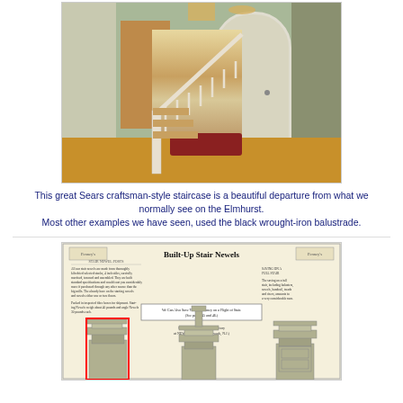[Figure (photo): Interior photo of a Sears craftsman-style staircase in an entryway/foyer, showing white painted wood balustrade with natural wood treads, an arched white door on the right, hardwood floors, a hallway visible in the background, chandelier overhead, and a decorative rug at the base of the stairs.]
This great Sears craftsman-style staircase is a beautiful departure from what we normally see on the Elmhurst.
Most other examples we have seen, used the black wrought-iron balustrade.
[Figure (photo): Scan of a vintage catalog page titled 'Built-Up Stair Newels' showing text columns on left and right, a central text block, and illustrations of three stair newel post styles at the bottom. The leftmost newel post is highlighted with a red rectangle border.]